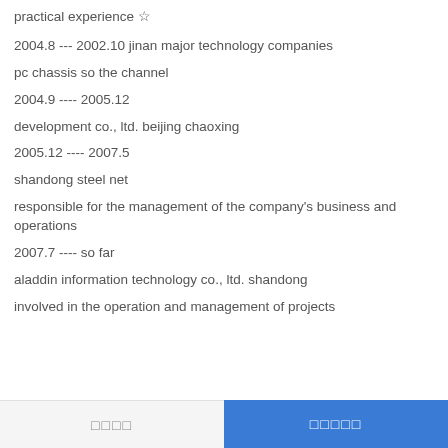practical experience ☆
2004.8 --- 2002.10 jinan major technology companies
pc chassis so the channel
2004.9 ---- 2005.12
development co., ltd. beijing chaoxing
2005.12 ---- 2007.5
shandong steel net
responsible for the management of the company's business and operations
2007.7 ---- so far
aladdin information technology co., ltd. shandong
involved in the operation and management of projects
□□□□    □□□□□